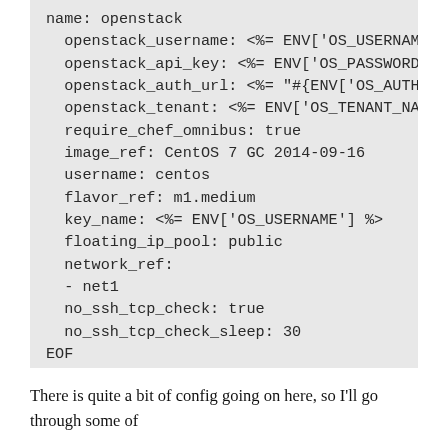[Figure (screenshot): Code block showing YAML/config content with openstack settings including username, api_key, auth_url, tenant, image_ref, username, flavor_ref, key_name, floating_ip_pool, network_ref, no_ssh_tcp_check fields, ending with EOF]
There is quite a bit of config going on here, so I'll go through some of